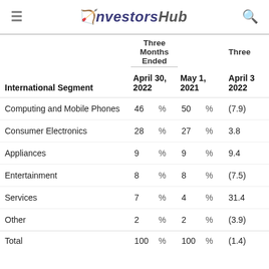InvestorsHub
| International Segment | April 30, 2022 | % | May 1, 2021 | % | April 30, 2022 |
| --- | --- | --- | --- | --- | --- |
| Computing and Mobile Phones | 46 | % | 50 | % | (7.9) |
| Consumer Electronics | 28 | % | 27 | % | 3.8 |
| Appliances | 9 | % | 9 | % | 9.4 |
| Entertainment | 8 | % | 8 | % | (7.5) |
| Services | 7 | % | 4 | % | 31.4 |
| Other | 2 | % | 2 | % | (3.9) |
| Total | 100 | % | 100 | % | (1.4) |